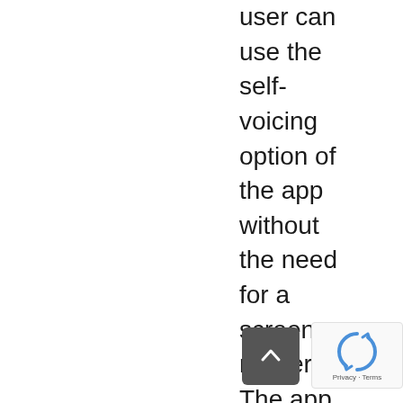user can use the self-voicing option of the app without the need for a screen reader. The app does NOT depend on